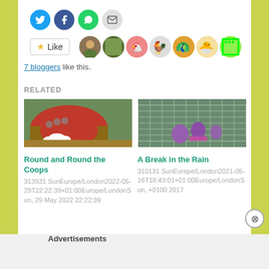[Figure (other): Social media share buttons: Twitter, Facebook, WhatsApp, Email icons]
Like
[Figure (other): Row of 7 blogger avatar images]
7 bloggers like this.
RELATED
[Figure (photo): Photo of a red hen house with white chickens]
Round and Round the Coops
313931 SunEurope/London2022-05-29T22:22:39+01:00Europe/LondonSun, 29 May 2022 22:22:39
[Figure (photo): Photo of purple eggs under a green wire dome]
A Break in the Rain
310131 SunEurope/London2021-05-16T18:43:01+01:00Europe/LondonSun, +0100 2017
Advertisements